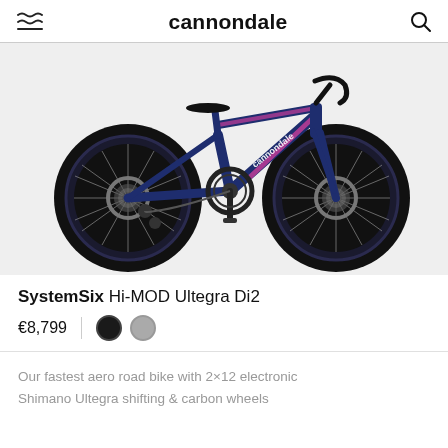cannondale
[Figure (photo): Cannondale SystemSix Hi-MOD road bike in dark navy blue with pink/magenta geometric frame graphics, shown in profile view against a light grey background. Features disc brakes, carbon wheels, and Shimano Ultegra Di2 groupset.]
SystemSix Hi-MOD Ultegra Di2
€8,799
Our fastest aero road bike with 2×12 electronic Shimano Ultegra shifting & carbon wheels